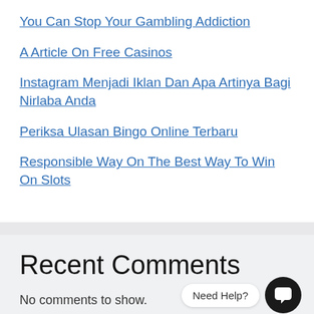You Can Stop Your Gambling Addiction
A Article On Free Casinos
Instagram Menjadi Iklan Dan Apa Artinya Bagi Nirlaba Anda
Periksa Ulasan Bingo Online Terbaru
Responsible Way On The Best Way To Win On Slots
Recent Comments
No comments to show.